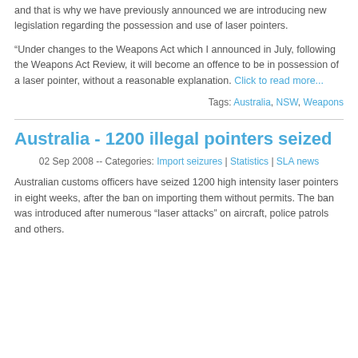and that is why we have previously announced we are introducing new legislation regarding the possession and use of laser pointers.
“Under changes to the Weapons Act which I announced in July, following the Weapons Act Review, it will become an offence to be in possession of a laser pointer, without a reasonable explanation. Click to read more...
Tags: Australia, NSW, Weapons
Australia - 1200 illegal pointers seized
02 Sep 2008 -- Categories: Import seizures | Statistics | SLA news
Australian customs officers have seized 1200 high intensity laser pointers in eight weeks, after the ban on importing them without permits. The ban was introduced after numerous "laser attacks" on aircraft, police patrols and others.